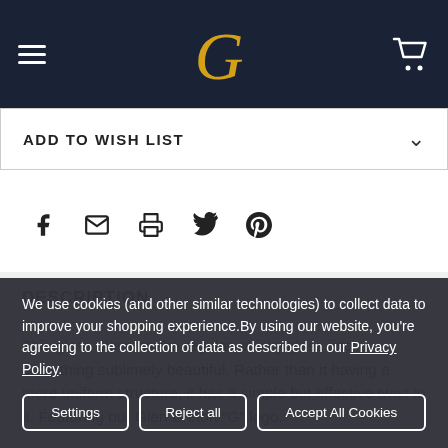G (Glen Breton logo) navigation header with hamburger menu and cart icon
ADD TO WISH LIST
[Figure (infographic): Social share icons: Facebook, Email, Print, Twitter, Pinterest]
DESCRIPTION
This glass elevates the regular whisky glass into something sublimely beautiful. Rather than it having a more uniform structure, it has a simple but effective twist to it. Featuring our Glen Breton "G" logo.
We use cookies (and other similar technologies) to collect data to improve your shopping experience.By using our website, you're agreeing to the collection of data as described in our Privacy Policy.